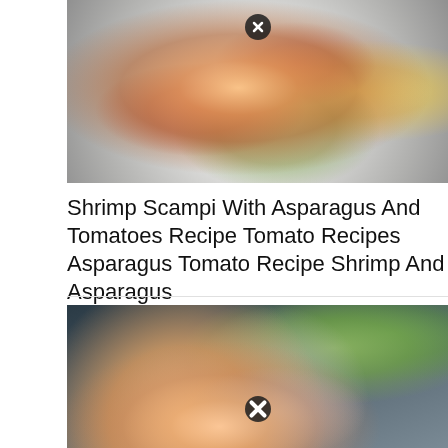[Figure (photo): Overhead shot of shrimp scampi with asparagus and tomatoes on a white plate with pasta, garnished with herbs. Lemon wedges visible on the side. A close button (X) icon overlaid at top center.]
Shrimp Scampi With Asparagus And Tomatoes Recipe Tomato Recipes Asparagus Tomato Recipe Shrimp And Asparagus
[Figure (photo): Close-up photo of shrimp with herbs on a fork over a plate, with sliced zucchini or cucumber in the background. A close button (X) icon overlaid at bottom center.]